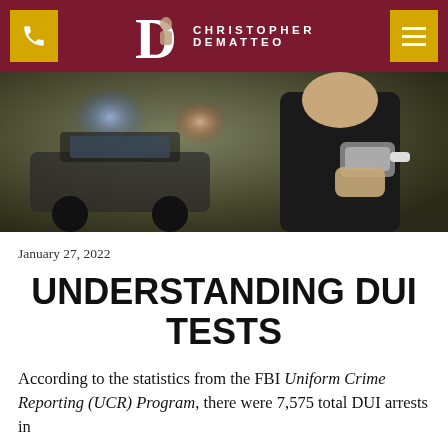Christopher DeMatteo — law firm website header
[Figure (photo): Police officer holding a breathalyzer device, with a police car with flashing blue and red lights in the background]
January 27, 2022
UNDERSTANDING DUI TESTS
According to the statistics from the FBI Uniform Crime Reporting (UCR) Program, there were 7,534 total DUI arrests in